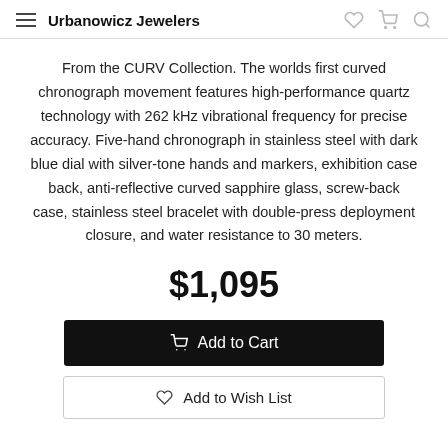Urbanowicz Jewelers
From the CURV Collection. The worlds first curved chronograph movement features high-performance quartz technology with 262 kHz vibrational frequency for precise accuracy. Five-hand chronograph in stainless steel with dark blue dial with silver-tone hands and markers, exhibition case back, anti-reflective curved sapphire glass, screw-back case, stainless steel bracelet with double-press deployment closure, and water resistance to 30 meters.
$1,095
Add to Cart
Add to Wish List